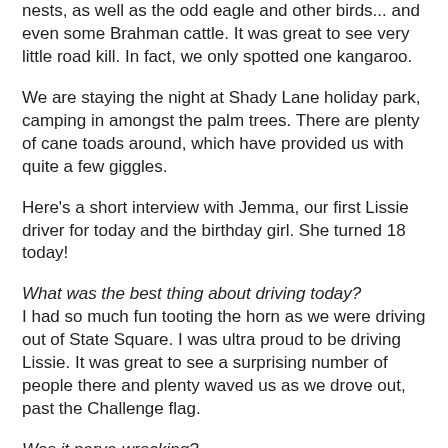nests, as well as the odd eagle and other birds... and even some Brahman cattle. It was great to see very little road kill. In fact, we only spotted one kangaroo.
We are staying the night at Shady Lane holiday park, camping in amongst the palm trees. There are plenty of cane toads around, which have provided us with quite a few giggles.
Here's a short interview with Jemma, our first Lissie driver for today and the birthday girl. She turned 18 today!
What was the best thing about driving today?
I had so much fun tooting the horn as we were driving out of State Square. I was ultra proud to be driving Lissie. It was great to see a surprising number of people there and plenty waved us as we drove out, past the Challenge flag.
Was it nerve-wracking?
It was a little nerve-wracking, even thought I'd driven Lissie quite a bit. At the start, I was thinking 'please don't stall... don't stall!' but then the nerves faded and we were well on